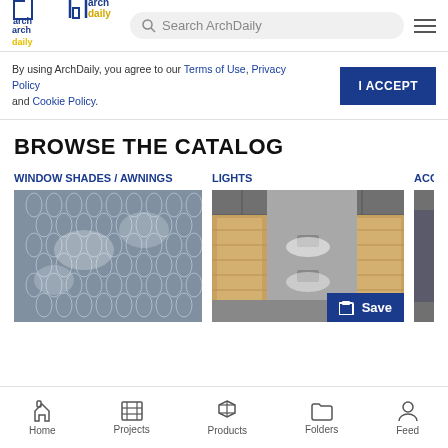ArchDaily - Search ArchDaily
By using ArchDaily, you agree to our Terms of Use, Privacy Policy and Cookie Policy.
I ACCEPT
BROWSE THE CATALOG
WINDOW SHADES / AWNINGS
[Figure (photo): Close-up photo of metallic mesh or chain-link texture, window shades/awnings product]
LIGHTS
[Figure (photo): Interior photo showing wall-mounted lights in a modern corridor with wooden panel walls. A 'Save' button overlay appears at bottom right.]
ACO
Home  Projects  Products  Folders  Feed